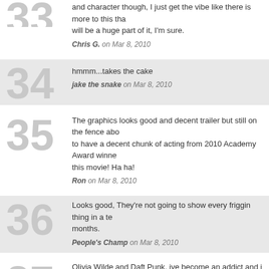and character though, I just get the vibe like there is more to this than appearance will be a huge part of it, I'm sure.
Chris G. on Mar 8, 2010
hmmm...takes the cake
jake the snake on Mar 8, 2010
The graphics looks good and decent trailer but still on the fence about to have a decent chunk of acting from 2010 Academy Award winner this movie! Ha ha!
Ron on Mar 8, 2010
Looks good, They're not going to show every friggin thing in a te months.
People's Champ on Mar 8, 2010
Olivia Wilde and Daft Punk, ive become an addict and i need my fix
Tom Cruise on Mar 8, 2010